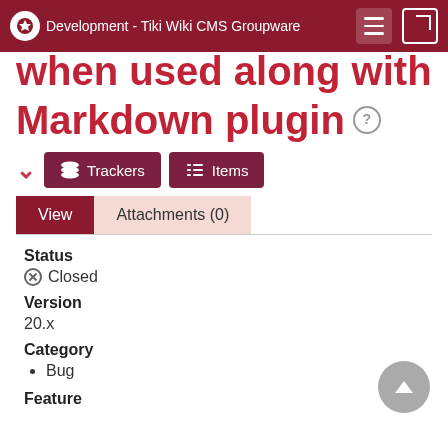Development - Tiki Wiki CMS Groupware
when used along with Markdown plugin
Trackers  Items
View  Attachments (0)
Status
Closed
Version
20.x
Category
Bug
Feature